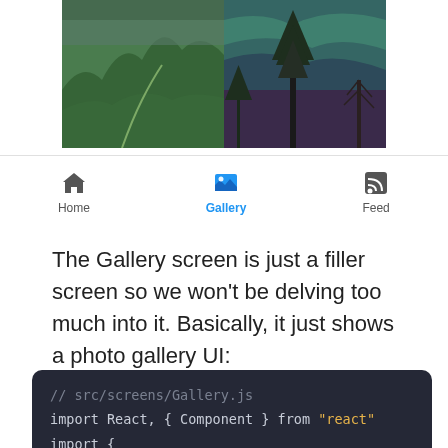[Figure (screenshot): Mobile app screenshot showing a photo gallery UI with two landscape photos side by side — green mountain path on left, purple/teal aurora with trees on right]
[Figure (screenshot): Mobile app navigation bar with three tabs: Home (house icon), Gallery (image icon, active/blue), Feed (RSS icon)]
The Gallery screen is just a filler screen so we won't be delving too much into it. Basically, it just shows a photo gallery UI:
[Figure (screenshot): Code block showing JavaScript source file src/screens/Gallery.js with React import statements and View, Text components]